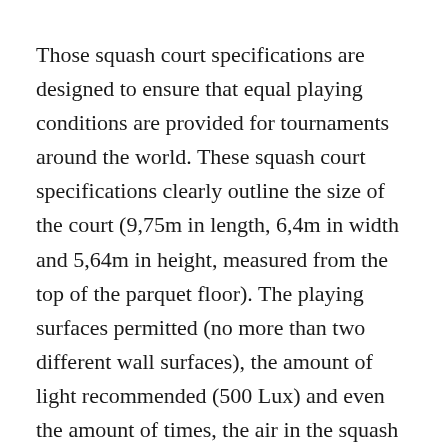Those squash court specifications are designed to ensure that equal playing conditions are provided for tournaments around the world. These squash court specifications clearly outline the size of the court (9,75m in length, 6,4m in width and 5,64m in height, measured from the top of the parquet floor). The playing surfaces permitted (no more than two different wall surfaces), the amount of light recommended (500 Lux) and even the amount of times, the air in the squash court should be exchanged per hour (four times).
Since the “flag ” is the size of two, the media didn’t tell you how the two were laid relative to each other.